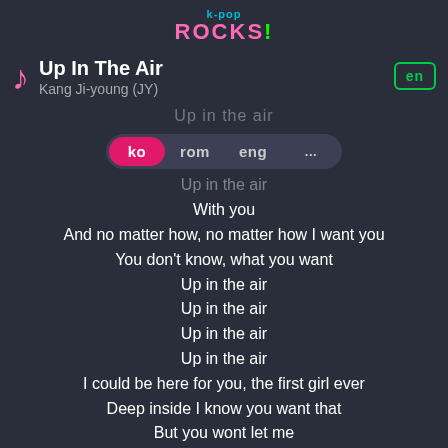k-pop ROCKS!
Up In The Air
Kang Ji-young (JY)
Up in the air
With you
And no matter how, no matter how I want you
You don't know, what you want
Up in the air
Up in the air
Up in the air
Up in the air
I could be here for you, the first girl ever
Deep inside I know you want that
But you wont let me
But you're so on the fence
Second guessing this
When you, when you're coming down